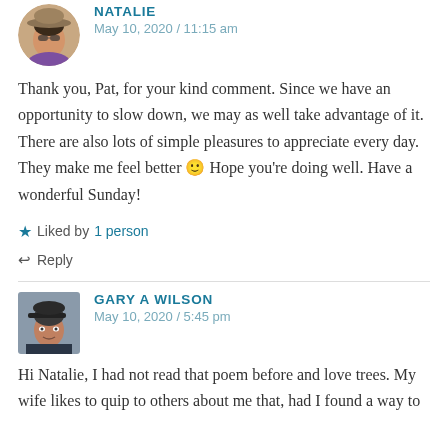[Figure (photo): Circular avatar photo of Natalie, a woman wearing a sunhat, purple shirt]
NATALIE
May 10, 2020 / 11:15 am
Thank you, Pat, for your kind comment. Since we have an opportunity to slow down, we may as well take advantage of it. There are also lots of simple pleasures to appreciate every day. They make me feel better 🙂 Hope you're doing well. Have a wonderful Sunday!
★ Liked by 1 person
↩ Reply
[Figure (photo): Small square avatar photo of Gary A Wilson, a man wearing a cap]
GARY A WILSON
May 10, 2020 / 5:45 pm
Hi Natalie, I had not read that poem before and love trees. My wife likes to quip to others about me that, had I found a way to